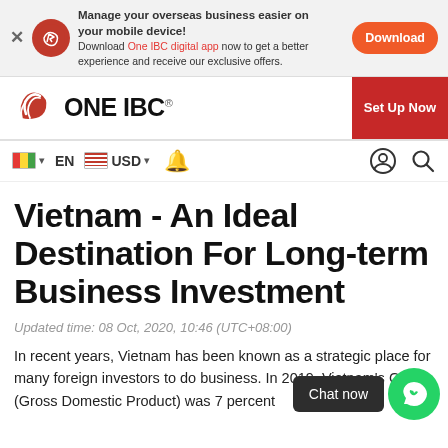Manage your overseas business easier on your mobile device! Download One IBC digital app now to get a better experience and receive our exclusive offers.
Download
[Figure (logo): ONE IBC logo with red bird/wing icon and black bold text ONE IBC with registered trademark symbol]
Set Up Now
EN  USD
Vietnam - An Ideal Destination For Long-term Business Investment
Updated time: 08 Oct, 2020, 10:46 (UTC+08:00)
In recent years, Vietnam has been known as a strategic place for many foreign investors to do business. In 2019, Vietnam's GDP (Gross Domestic Product) was 7 percent